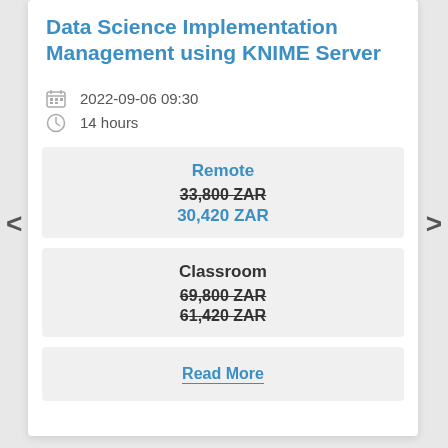Data Science Implementation Management using KNIME Server
2022-09-06 09:30
14 hours
Remote
33,800 ZAR
30,420 ZAR
Classroom
69,800 ZAR
61,420 ZAR
Read More